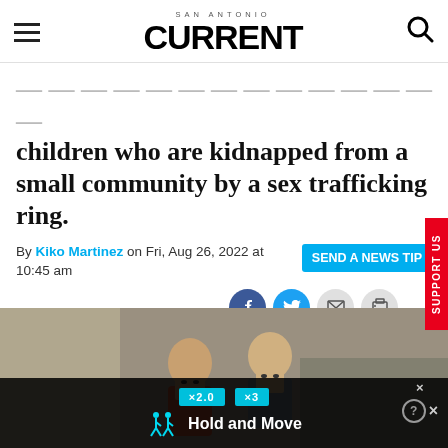SAN ANTONIO CURRENT
children who are kidnapped from a small community by a sex trafficking ring.
By Kiko Martinez on Fri, Aug 26, 2022 at 10:45 am
[Figure (photo): Two young people, a woman and a man, looking apprehensively in a warehouse setting]
[Figure (screenshot): Mobile game ad overlay showing 'Hold and Move' with cyan UI elements on dark background]